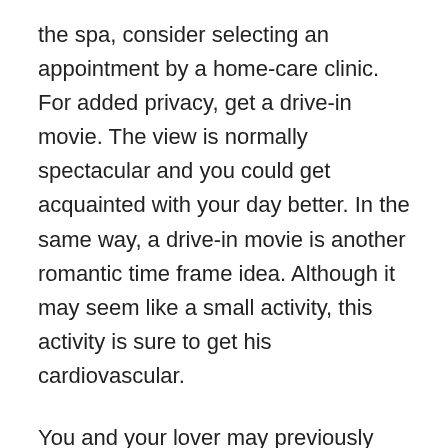the spa, consider selecting an appointment by a home-care clinic. For added privacy, get a drive-in movie. The view is normally spectacular and you could get acquainted with your day better. In the same way, a drive-in movie is another romantic time frame idea. Although it may seem like a small activity, this activity is sure to get his cardiovascular.
You and your lover may previously share a passion for music. Try to find a tune that fits your lover's taste. You may be able to inspire each other to write together, which may end in a natural jam session at night. Designed for